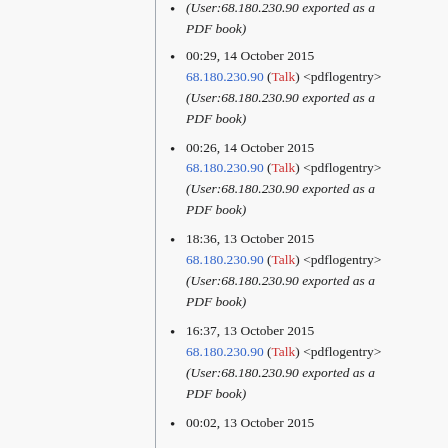(User:68.180.230.90 exported as a PDF book)
00:29, 14 October 2015 68.180.230.90 (Talk) <pdflogentry> (User:68.180.230.90 exported as a PDF book)
00:26, 14 October 2015 68.180.230.90 (Talk) <pdflogentry> (User:68.180.230.90 exported as a PDF book)
18:36, 13 October 2015 68.180.230.90 (Talk) <pdflogentry> (User:68.180.230.90 exported as a PDF book)
16:37, 13 October 2015 68.180.230.90 (Talk) <pdflogentry> (User:68.180.230.90 exported as a PDF book)
00:02, 13 October 2015